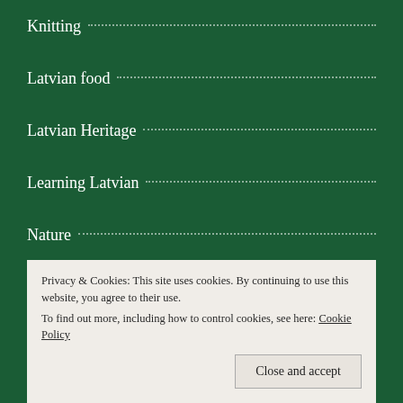Knitting
Latvian food
Latvian Heritage
Learning Latvian
Nature
photography
poems
Quotes
reading
seasons
Uncategorized
Privacy & Cookies: This site uses cookies. By continuing to use this website, you agree to their use. To find out more, including how to control cookies, see here: Cookie Policy
Close and accept